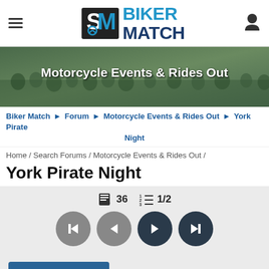[Figure (logo): Biker Match logo with BM icon and text]
[Figure (photo): Banner photo of a large crowd of motorcyclists at an event with text 'Motorcycle Events & Rides Out']
Biker Match ► Forum ► Motorcycle Events & Rides Out ► York Pirate Night
Home / Search Forums / Motorcycle Events & Rides Out /
York Pirate Night
[Figure (infographic): Thread controls: book icon 36, numbered list icon 1/2, navigation buttons: skip-back, back, forward, skip-forward]
[Figure (screenshot): Post Reply button with edit icon]
[Figure (photo): Partial post card with yellow avatar area showing a person image]